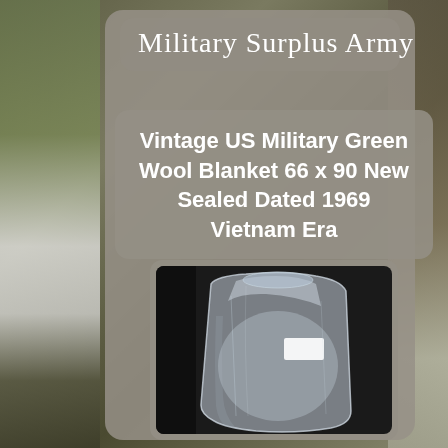[Figure (logo): Military Surplus Army logo in handwritten/cursive font on a rounded grey rectangle background]
Vintage US Military Green Wool Blanket 66 x 90 New Sealed Dated 1969 Vietnam Era
[Figure (photo): Photo of a US military green wool blanket sealed in a clear plastic bag, shown against a dark background]